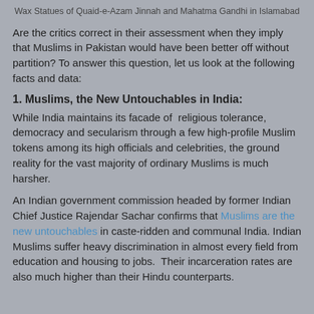Wax Statues of Quaid-e-Azam Jinnah and Mahatma Gandhi in Islamabad
Are the critics correct in their assessment when they imply that Muslims in Pakistan would have been better off without partition? To answer this question, let us look at the following facts and data:
1. Muslims, the New Untouchables in India:
While India maintains its facade of religious tolerance, democracy and secularism through a few high-profile Muslim tokens among its high officials and celebrities, the ground reality for the vast majority of ordinary Muslims is much harsher.
An Indian government commission headed by former Indian Chief Justice Rajendar Sachar confirms that Muslims are the new untouchables in caste-ridden and communal India. Indian Muslims suffer heavy discrimination in almost every field from education and housing to jobs. Their incarceration rates are also much higher than their Hindu counterparts.